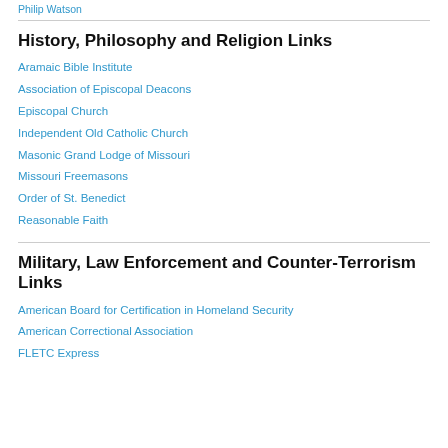Philip Watson
History, Philosophy and Religion Links
Aramaic Bible Institute
Association of Episcopal Deacons
Episcopal Church
Independent Old Catholic Church
Masonic Grand Lodge of Missouri
Missouri Freemasons
Order of St. Benedict
Reasonable Faith
Military, Law Enforcement and Counter-Terrorism Links
American Board for Certification in Homeland Security
American Correctional Association
FLETC Express